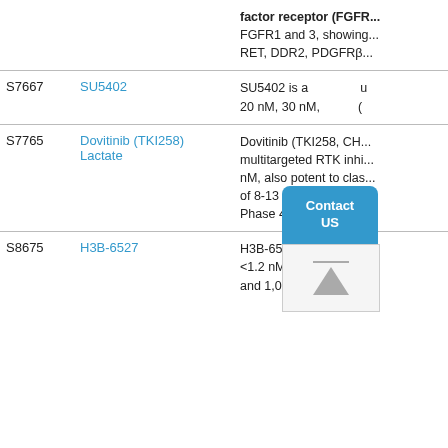| ID | Name | Description |
| --- | --- | --- |
|  |  | factor receptor (FGFR...
FGFR1 and 3, showing...
RET, DDR2, PDGFRβ... |
| S7667 | SU5402 | SU5402 is a... 20 nM, 30 nM... |
| S7765 | Dovitinib (TKI258) Lactate | Dovitinib (TKI258, CH...) multitargeted RTK inhi... nM, also potent to clas... of 8-13 nM, less poten... Phase 4. |
| S8675 | H3B-6527 | H3B-6527 is a highly s... <1.2 nM and at least 2... and 1,060 nM respecti... |